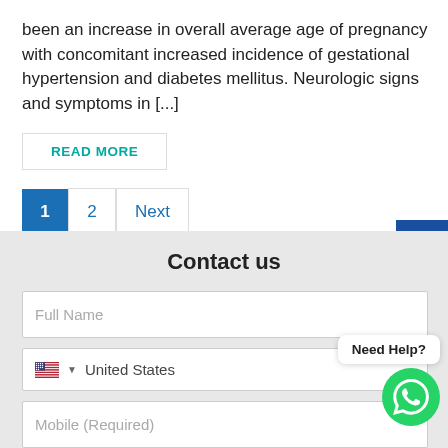been an increase in overall average age of pregnancy with concomitant increased incidence of gestational hypertension and diabetes mellitus. Neurologic signs and symptoms in [...]
READ MORE
1  2  Next
Contact us
Full Name
United States
Need Help?
Mobile (Required)